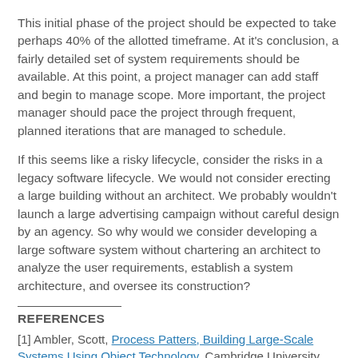This initial phase of the project should be expected to take perhaps 40% of the allotted timeframe. At it's conclusion, a fairly detailed set of system requirements should be available. At this point, a project manager can add staff and begin to manage scope. More important, the project manager should pace the project through frequent, planned iterations that are managed to schedule.
If this seems like a risky lifecycle, consider the risks in a legacy software lifecycle. We would not consider erecting a large building without an architect. We probably wouldn't launch a large advertising campaign without careful design by an agency. So why would we consider developing a large software system without chartering an architect to analyze the user requirements, establish a system architecture, and oversee its construction?
REFERENCES
[1] Ambler, Scott, Process Patters, Building Large-Scale Systems Using Object Technology, Cambridge University Press, 1998